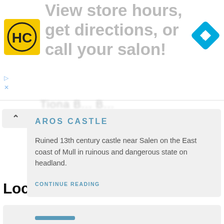[Figure (screenshot): Advertisement banner: HC logo (yellow/black), large grey text 'View store hours, get directions, or call your salon!', blue diamond navigation icon on right. Small play and close controls below logo.]
AROS CASTLE
Ruined 13th century castle near Salen on the East coast of Mull in ruinous and dangerous state on headland.
CONTINUE READING
Local Visitor Attractions